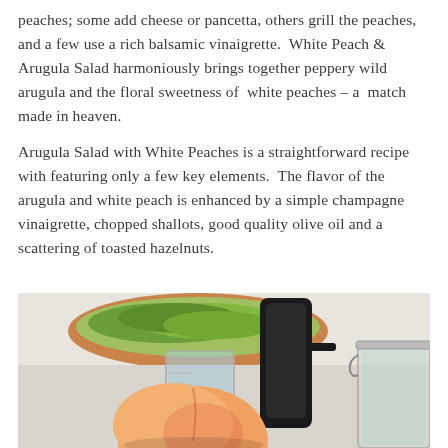peaches; some add cheese or pancetta, others grill the peaches, and a few use a rich balsamic vinaigrette. White Peach & Arugula Salad harmoniously brings together peppery wild arugula and the floral sweetness of white peaches – a match made in heaven.
Arugula Salad with White Peaches is a straightforward recipe with featuring only a few key elements. The flavor of the arugula and white peach is enhanced by a simple champagne vinaigrette, chopped shallots, good quality olive oil and a scattering of toasted hazelnuts.
[Figure (photo): Photo of salad ingredients on a kitchen counter: a peach in the foreground, a glass measuring cup, a black pepper grinder, a glass jar with lid, and a wooden bowl with green arugula in the background.]